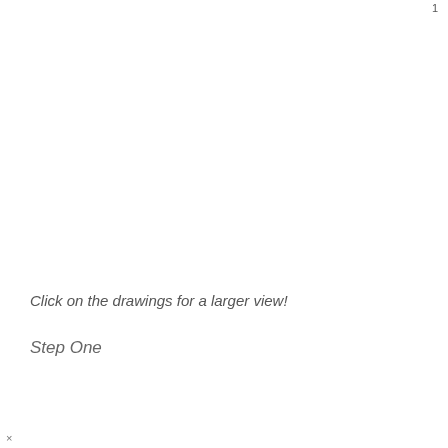1
Click on the drawings for a larger view!
Step One